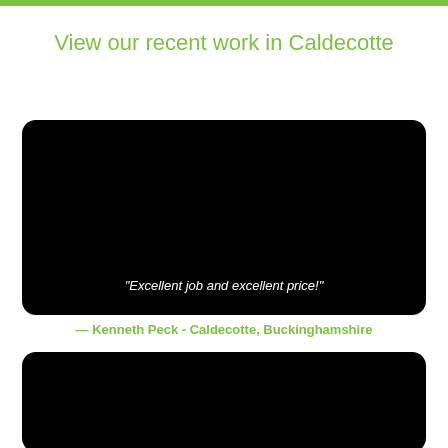View our recent work in Caldecotte
[Figure (photo): Dark/black image panel with italic quote text: “Excellent job and excellent price!”]
— Kenneth Peck - Caldecotte, Buckinghamshire
[Figure (photo): Dark/black image panel, second photo, partially visible at bottom of page]